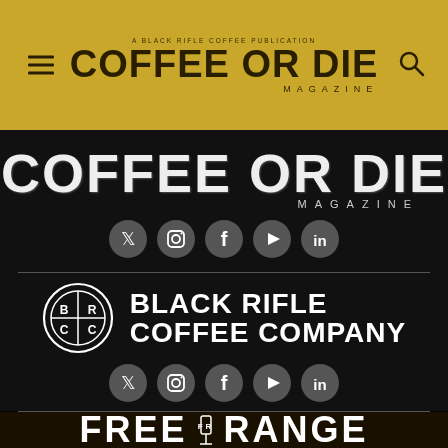[Figure (logo): Coffee or Die Magazine header/navigation bar with hamburger menu icon on left, 'COFFEE OR DIE MAGAZINE' title in center on gold background, and search icon on right]
[Figure (logo): Large 'COFFEE OR DIE MAGAZINE' text logo in white on black background with social media icons (Twitter, Instagram, Facebook, YouTube, LinkedIn) below]
[Figure (logo): Black Rifle Coffee Company logo: circular BRC emblem on left and 'BLACK RIFLE COFFEE COMPANY' text on right, in white on black, with social media icons (Twitter, Instagram, Facebook, YouTube, LinkedIn) below]
[Figure (logo): Free Range American logo text beginning to appear at bottom of page, white text on dark background]